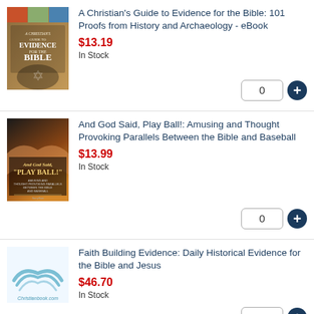[Figure (illustration): Book cover: A Christian's Guide to Evidence for the Bible]
A Christian's Guide to Evidence for the Bible: 101 Proofs from History and Archaeology - eBook
$13.19
In Stock
[Figure (illustration): Book cover: And God Said, Play Ball!]
And God Said, Play Ball!: Amusing and Thought Provoking Parallels Between the Bible and Baseball
$13.99
In Stock
[Figure (logo): Christianbook.com logo with open book illustration]
Faith Building Evidence: Daily Historical Evidence for the Bible and Jesus
$46.70
In Stock